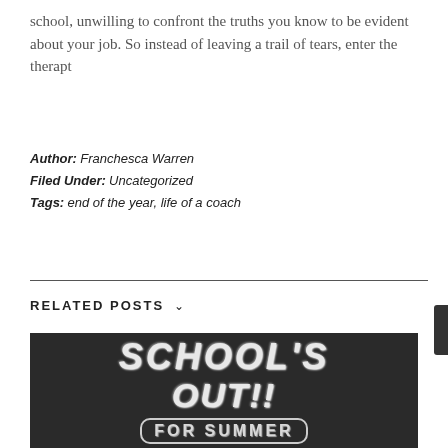school, unwilling to confront the truths you know to be evident about your job. So instead of leaving a trail of tears, enter the therapt
Author: Franchesca Warren
Filed Under: Uncategorized
Tags: end of the year, life of a coach
RELATED POSTS
[Figure (photo): Chalkboard photo with chalk lettering reading SCHOOL'S OUT!! FOR SUMMER]